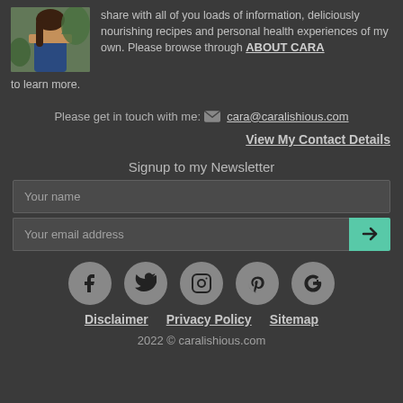[Figure (photo): Photo of a woman (Cara) holding a drink, with dark hair and a necklace, wearing a blue outfit, with greenery in the background]
share with all of you loads of information, deliciously nourishing recipes and personal health experiences of my own. Please browse through ABOUT CARA to learn more.
Please get in touch with me: cara@caralishious.com
View My Contact Details
Signup to my Newsletter
Your name
Your email address
[Figure (infographic): Social media icons row: Facebook, Twitter, Instagram, Pinterest, Google+]
Disclaimer   Privacy Policy   Sitemap
2022 © caralishious.com